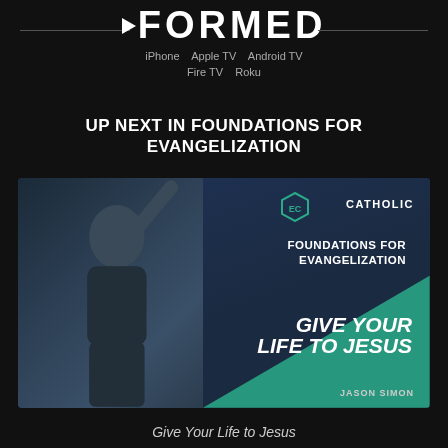FORMED
iPhone   Apple TV   Android TV
Fire TV   Roku
UP NEXT IN FOUNDATIONS FOR EVANGELIZATION
[Figure (photo): Thumbnail image of a man pointing upward with one finger, overlaid with text: 'EC Catholic — Foundations for Evangelization — Give Your Life to Jesus — Jason Simon'. Teal diagonal accent on lower right.]
Give Your Life to Jesus